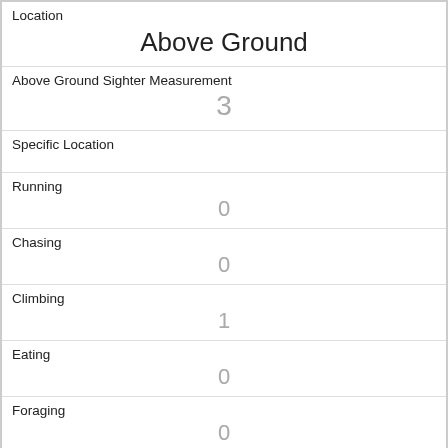| Location | Above Ground |
| Above Ground Sighter Measurement | 3 |
| Specific Location |  |
| Running | 0 |
| Chasing | 0 |
| Climbing | 1 |
| Eating | 0 |
| Foraging | 0 |
| Other Activities |  |
| Kuks | 0 |